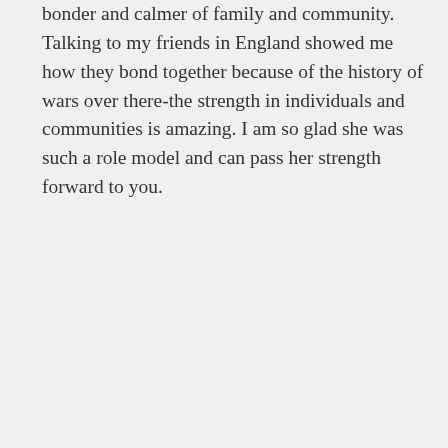bonder and calmer of family and community. Talking to my friends in England showed me how they bond together because of the history of wars over there-the strength in individuals and communities is amazing. I am so glad she was such a role model and can pass her strength forward to you.
★ Like
Reply
Elda
MARCH 28, 2020 AT 6:17 PM